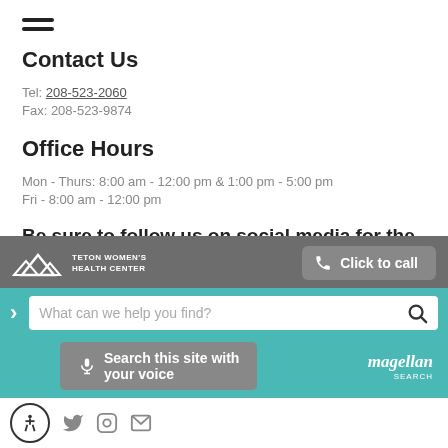[Figure (other): Hamburger menu icon (three horizontal lines)]
Contact Us
Tel: 208-523-2060
Fax: 208-523-9874
Office Hours
Mon - Thurs: 8:00 am - 12:00 pm & 1:00 pm - 5:00 pm
Fri - 8:00 am - 12:00 pm
Be sure to follow us on social media for the latest updates at Teton Women's
[Figure (screenshot): Teton Women's Health Center mobile website overlay with logo, Click to call button, search bar reading 'What can we help you find?', and voice search button. Magellan Search branding visible.]